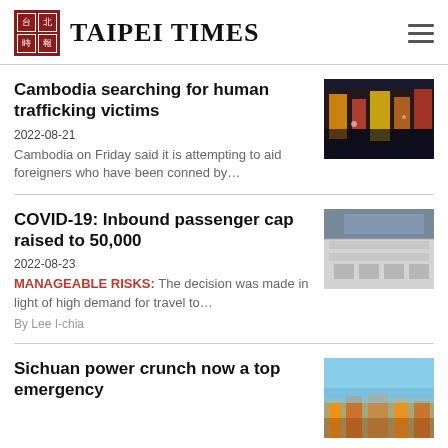TAIPEI TIMES
Cambodia searching for human trafficking victims
2022-08-21
Cambodia on Friday said it is attempting to aid foreigners who have been conned by…
[Figure (photo): Nighttime cityscape with colorful lights and reflections]
COVID-19: Inbound passenger cap raised to 50,000
2022-08-23
MANAGEABLE RISKS: The decision was made in light of high demand for travel to…
By Lee I-chia
[Figure (photo): Airport terminal interior with passengers and escalators]
Sichuan power crunch now a top emergency
[Figure (photo): City skyline at sunset with buildings and warm lighting]